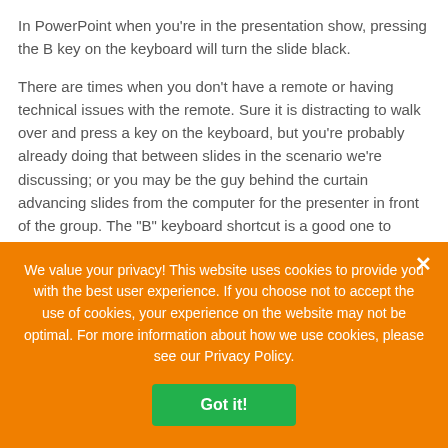In PowerPoint when you're in the presentation show, pressing the B key on the keyboard will turn the slide black.
There are times when you don't have a remote or having technical issues with the remote. Sure it is distracting to walk over and press a key on the keyboard, but you're probably already doing that between slides in the scenario we're discussing; or you may be the guy behind the curtain advancing slides from the computer for the presenter in front of the group. The "B" keyboard shortcut is a good one to know. It is easy to remember if you think about Blacking the slides.
For those of you who can remember when having presentation
We value your privacy! This website uses cookies to provide you with the best user experience. If you choose not to accept the use of cookies, your experience on the website may not be optimal. For more information about how we use cookies, please see our Privacy Policy.
Got it!